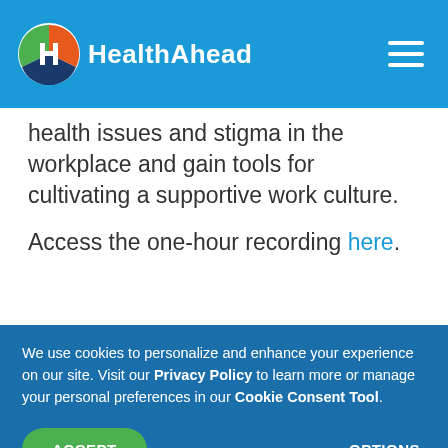HealthAhead
health issues and stigma in the workplace and gain tools for cultivating a supportive work culture.
Access the one-hour recording here.
We use cookies to personalize and enhance your experience on our site. Visit our Privacy Policy to learn more or manage your personal preferences in our Cookie Consent Tool. ACCEPT OPTIONS